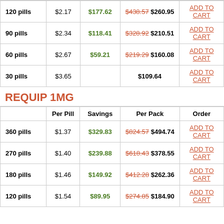|  | Per Pill | Savings | Per Pack | Order |
| --- | --- | --- | --- | --- |
| 120 pills | $2.17 | $177.62 | $438.57 $260.95 | ADD TO CART |
| 90 pills | $2.34 | $118.41 | $328.92 $210.51 | ADD TO CART |
| 60 pills | $2.67 | $59.21 | $219.29 $160.08 | ADD TO CART |
| 30 pills | $3.65 |  | $109.64 | ADD TO CART |
REQUIP 1MG
|  | Per Pill | Savings | Per Pack | Order |
| --- | --- | --- | --- | --- |
| 360 pills | $1.37 | $329.83 | $824.57 $494.74 | ADD TO CART |
| 270 pills | $1.40 | $239.88 | $618.43 $378.55 | ADD TO CART |
| 180 pills | $1.46 | $149.92 | $412.28 $262.36 | ADD TO CART |
| 120 pills | $1.54 | $89.95 | $274.85 $184.90 | ADD TO CART |